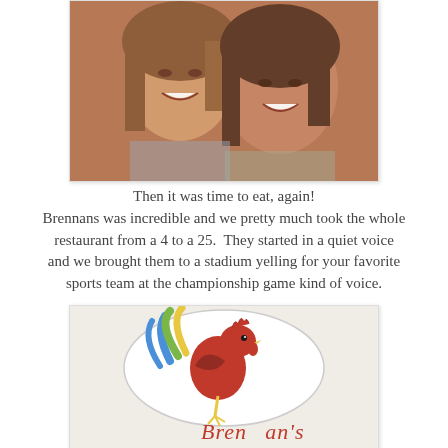[Figure (photo): Two smiling women posing closely together for a selfie-style photo, both with brown hair, wearing patterned clothing.]
Then it was time to eat, again! Brennans was incredible and we pretty much took the whole restaurant from a 4 to a 25. They started in a quiet voice and we brought them to a stadium yelling for your favorite sports team at the championship game kind of voice.
[Figure (photo): A white plate or ceramic dish featuring the Brennan's restaurant logo — a colorful rooster in red, green, blue, and yellow — with the cursive text 'Brennan's' below it.]